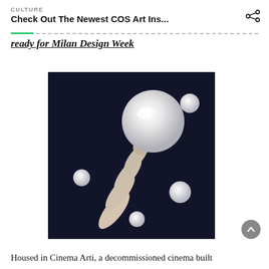CULTURE
Check Out The Newest COS Art Ins...
ready for Milan Design Week
[Figure (photo): A hand reaching upward against a dark navy background, balancing a large white luminous sphere on fingertips, with several smaller white spheres floating in the background]
Housed in Cinema Arti, a decommissioned cinema built